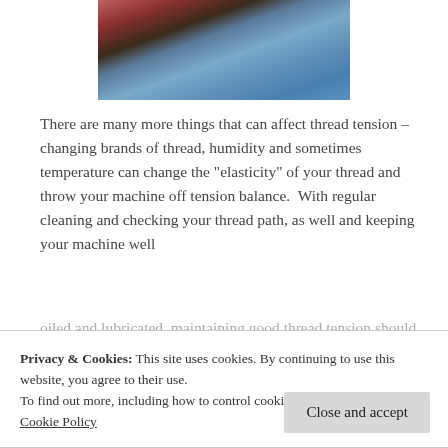[Figure (photo): Partial photo of what appears to be a sewing machine needle and thread area against a blue background, cropped at top of page]
There are many more things that can affect thread tension – changing brands of thread, humidity and sometimes temperature can change the “elasticity” of your thread and throw your machine off tension balance.  With regular cleaning and checking your thread path, as well and keeping your machine well
Privacy & Cookies: This site uses cookies. By continuing to use this website, you agree to their use.
To find out more, including how to control cookies, see here:
Cookie Policy
Close and accept